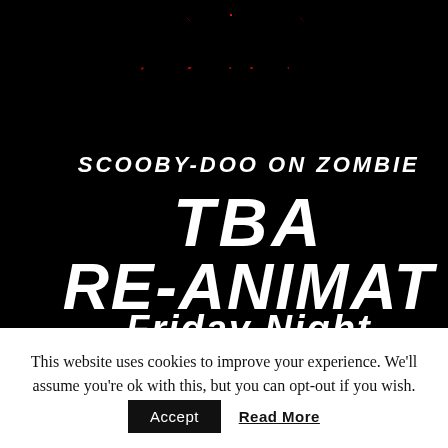[Figure (illustration): Cropped movie/TV promotional image on black background. Red dripping horror-style text partially visible at top (looks like 'PART 2' or similar). White bold italic text reads 'SCOOBY-DOO ON ZOMBIE', then 'TBA', then 'RE-ANIMAT' (cut off), then partial white text 'Friday Night' at bottom.]
This website uses cookies to improve your experience. We'll assume you're ok with this, but you can opt-out if you wish.
Accept   Read More